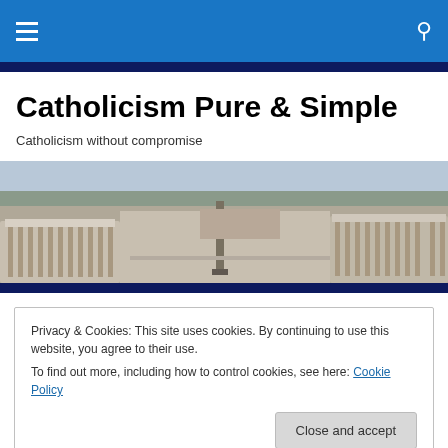≡  🔍
Catholicism Pure & Simple
Catholicism without compromise
[Figure (photo): Aerial panoramic view of St. Peter's Square and Vatican City with surrounding Rome cityscape]
Privacy & Cookies: This site uses cookies. By continuing to use this website, you agree to their use.
To find out more, including how to control cookies, see here: Cookie Policy
Holy Week helps us focus on the salvific